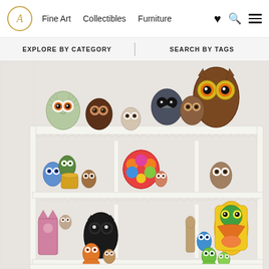A  Fine Art  Collectibles  Furniture
EXPLORE BY CATEGORY  |  SEARCH BY TAGS
[Figure (photo): A white wooden display shelf (hutch-style cabinet with scalloped edges) holding a collection of vintage ceramic and decorative owl figurines in various colors and sizes. Multiple owls are arranged on top of the shelf and on two interior shelves. The owls vary from colorful painted ceramic pieces to dark brown and black figures.]